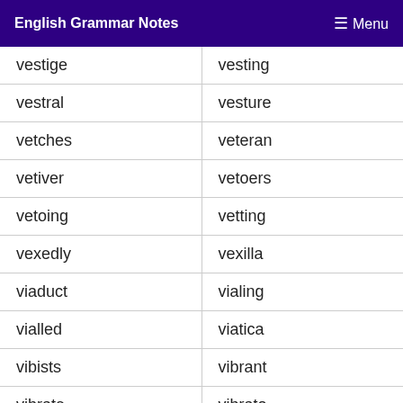English Grammar Notes  ≡ Menu
| vestige | vesting |
| vestral | vesture |
| vetches | veteran |
| vetiver | vetoers |
| vetoing | vetting |
| vexedly | vexilla |
| viaduct | vialing |
| vialled | viatica |
| vibists | vibrant |
| vibrate | vibrato |